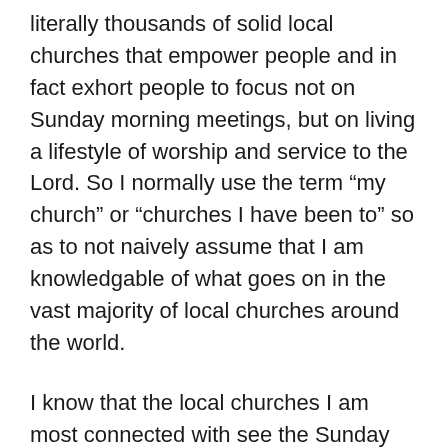literally thousands of solid local churches that empower people and in fact exhort people to focus not on Sunday morning meetings, but on living a lifestyle of worship and service to the Lord. So I normally use the term “my church” or “churches I have been to” so as to not naively assume that I am knowledgable of what goes on in the vast majority of local churches around the world.
I know that the local churches I am most connected with see the Sunday Morning meeting as a meeting to celebrate and express everything God has done throughout the week in our lives as believers. It is not our focus, not is it the locus of what we do. It is a gift and a privilege.